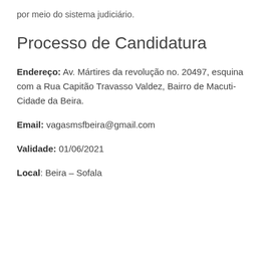por meio do sistema judiciário.
Processo de Candidatura
Endereço: Av. Mártires da revolução no. 20497, esquina com a Rua Capitão Travasso Valdez, Bairro de Macuti-Cidade da Beira.
Email: vagasmsfbeira@gmail.com
Validade: 01/06/2021
Local: Beira – Sofala